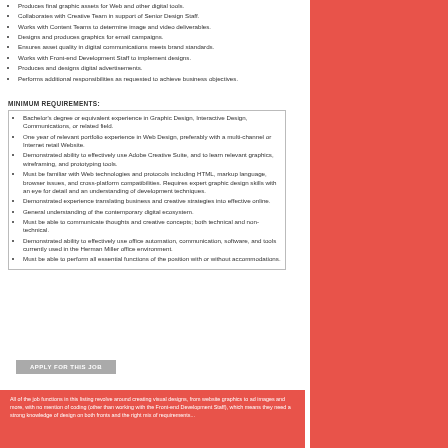Produces final graphic assets for Web and other digital tools.
Collaborates with Creative Team in support of Senior Design Staff.
Works with Content Teams to determine image and video deliverables.
Designs and produces graphics for email campaigns.
Ensures asset quality in digital communications meets brand standards.
Works with Front-end Development Staff to implement designs.
Produces and designs digital advertisements.
Performs additional responsibilities as requested to achieve business objectives.
MINIMUM REQUIREMENTS:
Bachelor's degree or equivalent experience in Graphic Design, Interactive Design, Communications, or related field.
One year of relevant portfolio experience in Web Design, preferably with a multi-channel or Internet retail Website.
Demonstrated ability to effectively use Adobe Creative Suite, and to learn relevant graphics, wireframing, and prototyping tools.
Must be familiar with Web technologies and protocols including HTML, markup language, browser issues, and cross-platform compatibilities. Requires expert graphic design skills with an eye for detail and an understanding of development techniques.
Demonstrated experience translating business and creative strategies into effective online.
General understanding of the contemporary digital ecosystem.
Must be able to communicate thoughts and creative concepts; both technical and non-technical.
Demonstrated ability to effectively use office automation, communication, software, and tools currently used in the Herman Miller office environment.
Must be able to perform all essential functions of the position with or without accommodations.
APPLY FOR THIS JOB
Good Indicator this is a great job.
Potentially a red flag, as it could mean a lot of extra work.
FLEare they really!
Not necessarily a hard and fast rule, 6 months of similar work is better than 12 months of mediocre work.
These are the important bits...
Buzzwords and catchphrases.
All of the job functions in this listing revolve around creating visual designs, from website graphics to ad images and more, with no mention of coding (other than working with the Front-end Development Staff), which means they need a strong knowledge of design on both fronts and the right mix of requirements...